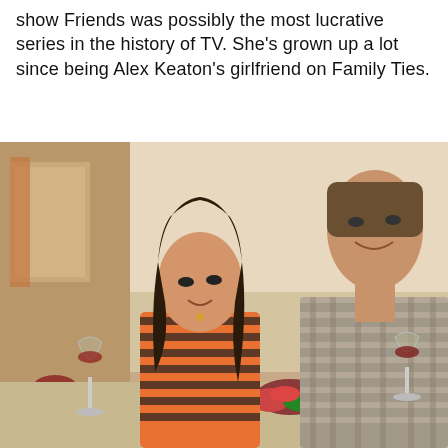show Friends was possibly the most lucrative series in the history of TV. She's grown up a lot since being Alex Keaton's girlfriend on Family Ties.
[Figure (photo): A woman in an orange striped tank top holding a glass of red wine stands in a kitchen next to a man in a plaid shirt also holding a glass of red wine. They are looking at each other. Kitchen appliances and decor visible in background.]